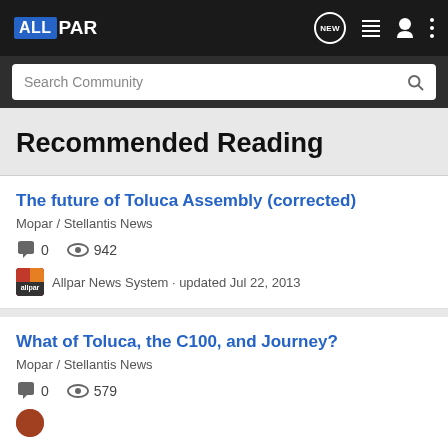ALLPAR
Search Community
Recommended Reading
The future of Toluca Assembly (corrected)
Mopar / Stellantis News
0   942
Allpar News System · updated Jul 22, 2013
What of Toluca, the C100, and Journey?
Mopar / Stellantis News
0   579